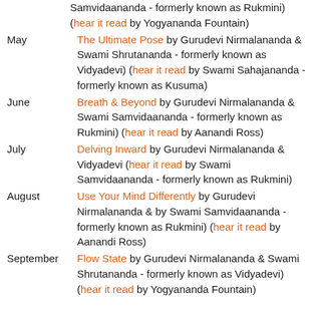Samvidaananda - formerly known as Rukmini) (hear it read by Yogyananda Fountain)
May — The Ultimate Pose by Gurudevi Nirmalananda & Swami Shrutananda - formerly known as Vidyadevi) (hear it read by Swami Sahajananda - formerly known as Kusuma)
June — Breath & Beyond by Gurudevi Nirmalananda & Swami Samvidaananda - formerly known as Rukmini) (hear it read by Aanandi Ross)
July — Delving Inward by Gurudevi Nirmalananda & Vidyadevi (hear it read by Swami Samvidaananda - formerly known as Rukmini)
August — Use Your Mind Differently by Gurudevi Nirmalananda & by Swami Samvidaananda - formerly known as Rukmini) (hear it read by Aanandi Ross)
September — Flow State by Gurudevi Nirmalananda & Swami Shrutananda - formerly known as Vidyadevi) (hear it read by Yogyananda Fountain)